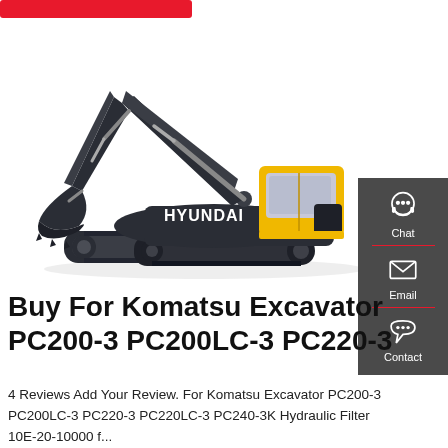[Figure (photo): Hyundai hydraulic excavator on white background, dark grey/blue body with yellow cab, extended boom and arm with bucket]
[Figure (infographic): Dark grey sidebar with Chat (headset icon), Email (envelope icon), and Contact (speech bubble icon) buttons with red dividers]
Buy For Komatsu Excavator PC200-3 PC200LC-3 PC220-3
4 Reviews Add Your Review. For Komatsu Excavator PC200-3 PC200LC-3 PC220-3 PC220LC-3 PC240-3K Hydraulic Filter 10E-20-10000 f...